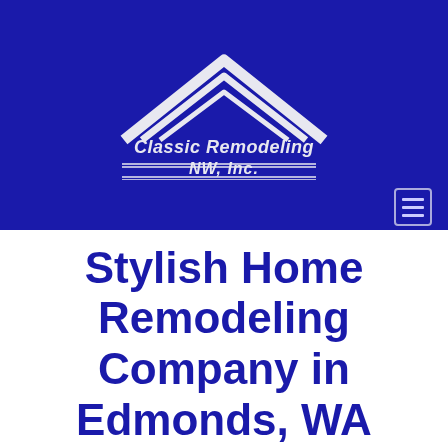[Figure (logo): Classic Remodeling NW, Inc. logo — white triple-chevron roof/house symbol above company name in italic white bold text, with double horizontal rules flanking 'NW, Inc.' on a dark blue background]
Stylish Home Remodeling Company in Edmonds, WA